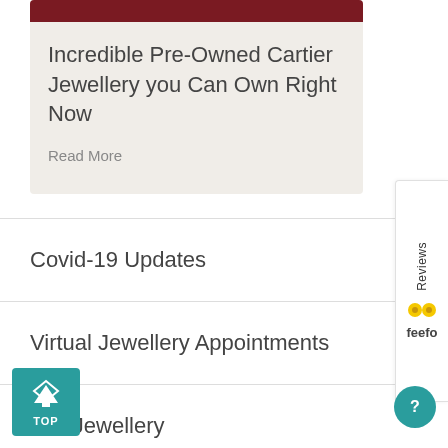[Figure (photo): Dark red/maroon image at top of card, partially cropped]
Incredible Pre-Owned Cartier Jewellery you Can Own Right Now
Read More
Covid-19 Updates
Virtual Jewellery Appointments
Sell Jewellery
[Figure (logo): Feefo Reviews badge on right side]
[Figure (other): TOP scroll-to-top button, teal, bottom left]
[Figure (other): Question mark help button, teal circle, bottom right]